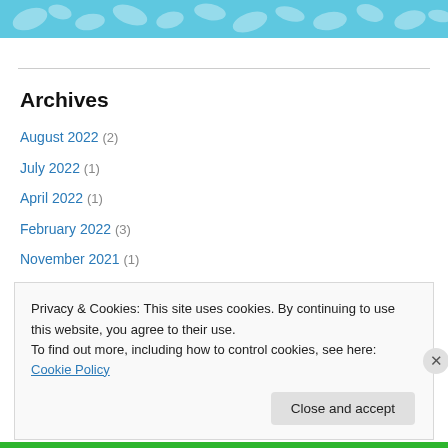[Figure (illustration): Light blue decorative banner with white floral/leaf pattern]
Archives
August 2022 (2)
July 2022 (1)
April 2022 (1)
February 2022 (3)
November 2021 (1)
May 2021 (3)
April 2021 (6)
March 2021 (4)
Privacy & Cookies: This site uses cookies. By continuing to use this website, you agree to their use.
To find out more, including how to control cookies, see here: Cookie Policy
Close and accept